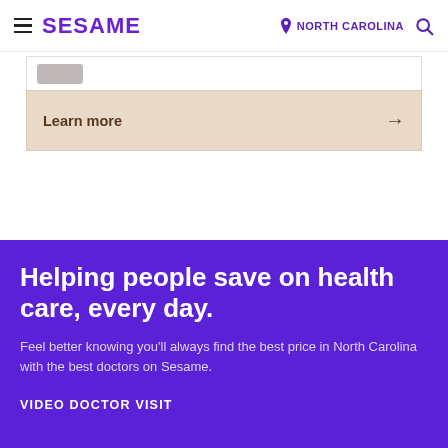SESAME | NORTH CAROLINA
Learn more →
Helping people save on health care, every day.
Feel better knowing you'll always find the best price in North Carolina with the best doctors on Sesame.
VIDEO DOCTOR VISIT